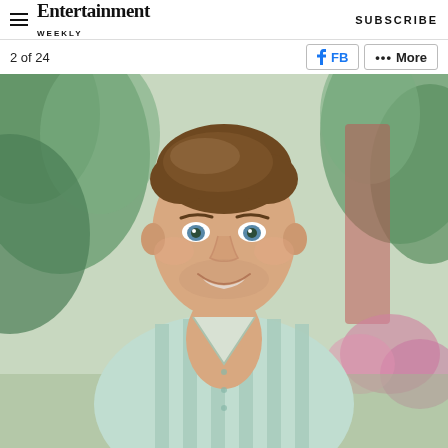Entertainment Weekly — SUBSCRIBE
2 of 24
[Figure (photo): Headshot of a smiling young man with short brown hair and blue eyes, wearing an open mint green and white striped shirt, photographed outdoors with blurred tropical foliage and pink flowers in the background. Entertainment Weekly gallery photo, 2 of 24.]